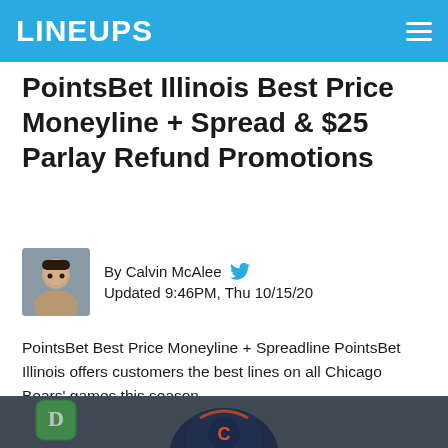LINEUPS
PointsBet Illinois Best Price Moneyline + Spread & $25 Parlay Refund Promotions
By Calvin McAlee  Updated 9:46PM, Thu 10/15/20
PointsBet Best Price Moneyline + Spreadline PointsBet Illinois offers customers the best lines on all Chicago Bears' games this season....
Read Full Article
[Figure (photo): Partial view of a football player wearing a Chicago Bears helmet with a green DraftKings app icon visible in the lower left corner]